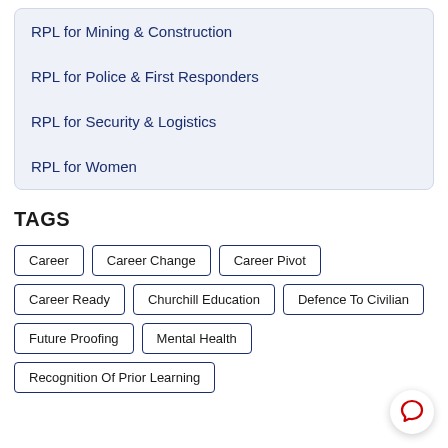RPL for Mining & Construction
RPL for Police & First Responders
RPL for Security & Logistics
RPL for Women
TAGS
Career
Career Change
Career Pivot
Career Ready
Churchill Education
Defence To Civilian
Future Proofing
Mental Health
Recognition Of Prior Learning